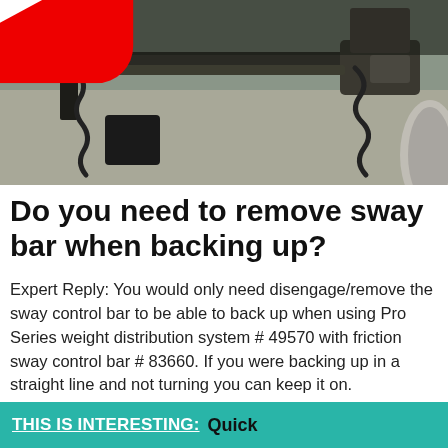[Figure (screenshot): Video thumbnail showing a trailer hitch assembly with weight distribution bars and chains attached, with a YouTube play button overlay. Vehicle undercarriage visible on concrete surface.]
Do you need to remove sway bar when backing up?
Expert Reply: You would only need disengage/remove the sway control bar to be able to back up when using Pro Series weight distribution system # 49570 with friction sway control bar # 83660. If you were backing up in a straight line and not turning you can keep it on.
THIS IS INTERESTING:  Quick